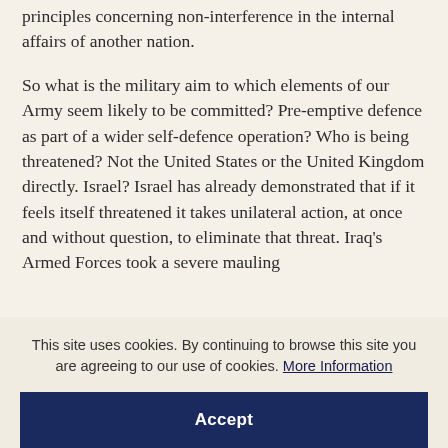principles concerning non-interference in the internal affairs of another nation.
So what is the military aim to which elements of our Army seem likely to be committed? Pre-emptive defence as part of a wider self-defence operation? Who is being threatened? Not the United States or the United Kingdom directly. Israel? Israel has already demonstrated that if it feels itself threatened it takes unilateral action, at once and without question, to eliminate that threat. Iraq's Armed Forces took a severe mauling
This site uses cookies. By continuing to browse this site you are agreeing to our use of cookies. More Information
Accept